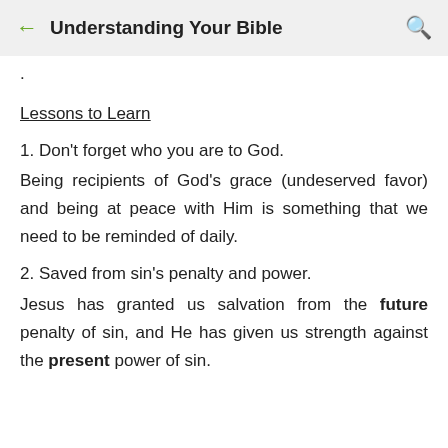Understanding Your Bible
.
Lessons to Learn
1. Don't forget who you are to God.
Being recipients of God's grace (undeserved favor) and being at peace with Him is something that we need to be reminded of daily.
2. Saved from sin's penalty and power.
Jesus has granted us salvation from the future penalty of sin, and He has given us strength against the present power of sin.